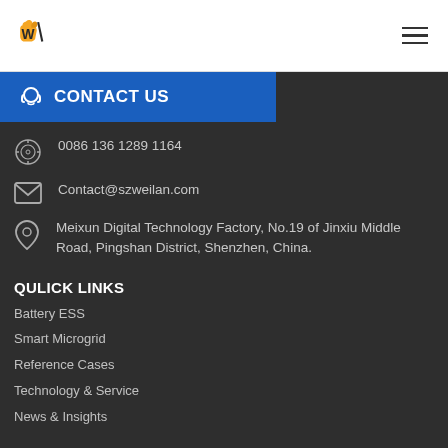AWL logo and hamburger menu
CONTACT US
0086 136 1289 1164
Contact@szweilan.com
Meixun Digital Technology Factory, No.19 of Jinxiu Middle Road, Pingshan District, Shenzhen, China.
QULICK LINKS
Battery ESS
Smart Microgrid
Reference Cases
Technology & Service
News & Insights